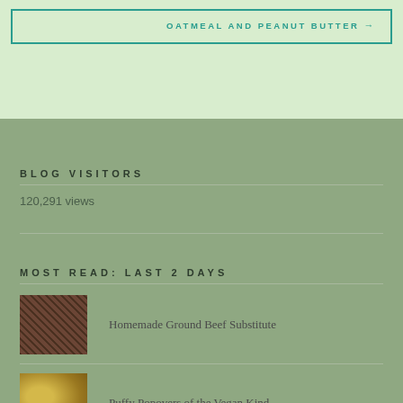OATMEAL AND PEANUT BUTTER →
BLOG VISITORS
120,291 views
MOST READ: LAST 2 DAYS
Homemade Ground Beef Substitute
Puffy Popovers of the Vegan Kind